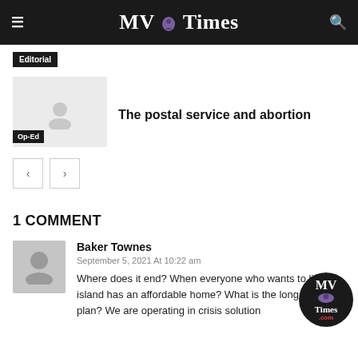MV Times
Editorial
The postal service and abortion
Op-Ed
1 COMMENT
Baker Townes
September 5, 2021 At 10:22 am
Where does it end? When everyone who wants to live on island has an affordable home? What is the long term plan? We are operating in crisis solution